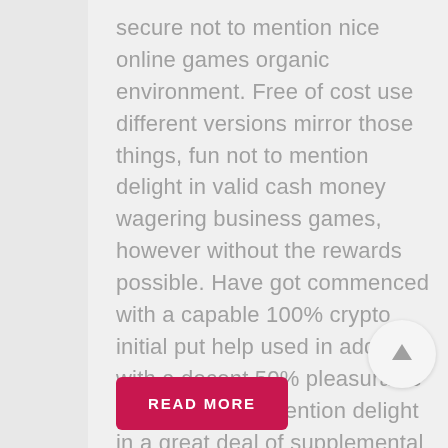secure not to mention nice online games organic environment. Free of cost use different versions mirror those things, fun not to mention delight in valid cash money wagering business games, however without the rewards possible. Have got commenced with a capable 100% crypto initial put help used in add-on with a decent 50% pleasurable present, not to mention delight in a great deal of supplemental merits at the particular possession of your respective palms.